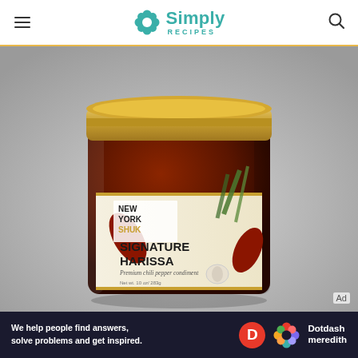Simply Recipes
[Figure (photo): A glass jar of New York Shuk Signature Harissa with a gold lid, labeled 'Premium chili pepper condiment', photographed on a light gray background.]
Ad
[Figure (logo): Dotdash Meredith advertisement banner: 'We help people find answers, solve problems and get inspired.' with Dotdash Meredith logo.]